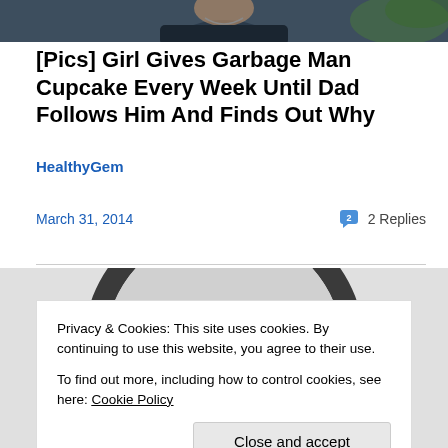[Figure (photo): Top portion of a photo showing a person outdoors, cropped to a narrow strip]
[Pics] Girl Gives Garbage Man Cupcake Every Week Until Dad Follows Him And Finds Out Why
HealthyGem
March 31, 2014    2 Replies
[Figure (photo): Partial image of what appears to be a circular object, likely a cupcake or circular graphic, dark outline visible against grey background, with green elements at bottom]
Privacy & Cookies: This site uses cookies. By continuing to use this website, you agree to their use.
To find out more, including how to control cookies, see here: Cookie Policy
Close and accept